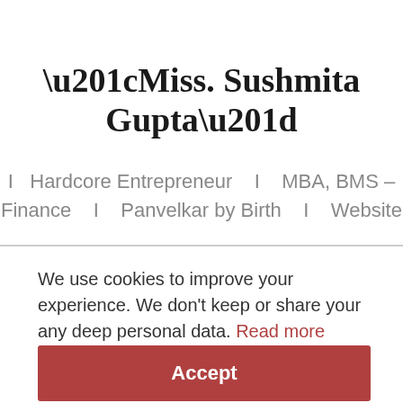“Miss. Sushmita Gupta”
I   Hardcore Entrepreneur   I   MBA, BMS – Finance   I   Panvelkar by Birth   I   Website
We use cookies to improve your experience. We don't keep or share your any deep personal data. Read more here.
Accept